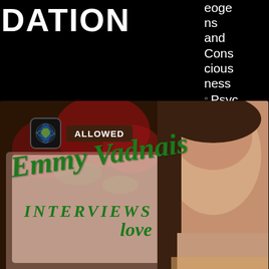DATION
eoge
ns
and
Cons
cious
ness
Psyc
holog
y and
Psyc
holog
y and
Psyc
herap
y
Para
psyc
holog
y and
Psyc
hical
Rese
arch
[Figure (screenshot): Video thumbnail showing Emmy Vadnais Interviews sign with roses background and a woman's face on the right. An 'Allowed' badge is visible in the upper left of the thumbnail.]
Emmy Vadnais Interviews Jeffrey Mishlove About the Grand Prize Bigelow Institute Essay
[Figure (screenshot): Second video thumbnail showing two people seated, labeled 'FROM THE SAME CATEGORY']
FROM THE SAME CATEGORY